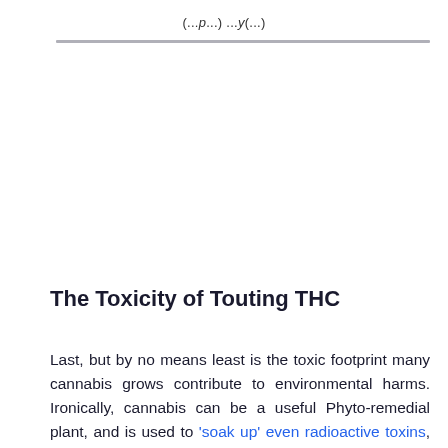(...p...) ...y(...)
The Toxicity of Touting THC
Last, but by no means least is the toxic footprint many cannabis grows contribute to environmental harms. Ironically, cannabis can be a useful Phyto-remedial plant, and is used to 'soak up' even radioactive toxins, (and so